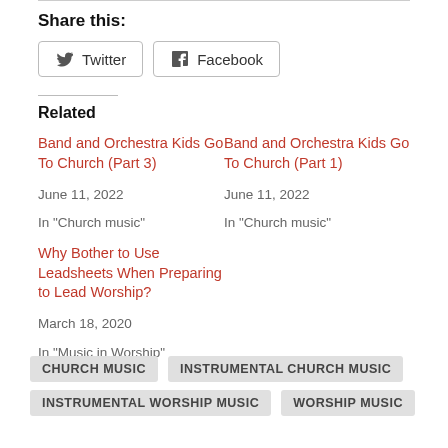Share this:
Twitter  Facebook
Related
Band and Orchestra Kids Go To Church (Part 3)
June 11, 2022
In "Church music"
Band and Orchestra Kids Go To Church (Part 1)
June 11, 2022
In "Church music"
Why Bother to Use Leadsheets When Preparing to Lead Worship?
March 18, 2020
In "Music in Worship"
CHURCH MUSIC  INSTRUMENTAL CHURCH MUSIC  INSTRUMENTAL WORSHIP MUSIC  WORSHIP MUSIC